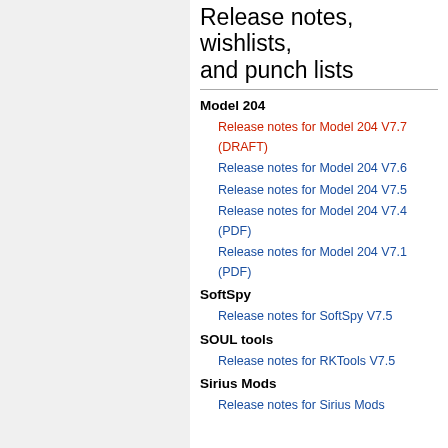Release notes, wishlists, and punch lists
Model 204
Release notes for Model 204 V7.7 (DRAFT)
Release notes for Model 204 V7.6
Release notes for Model 204 V7.5
Release notes for Model 204 V7.4 (PDF)
Release notes for Model 204 V7.1 (PDF)
SoftSpy
Release notes for SoftSpy V7.5
SOUL tools
Release notes for RKTools V7.5
Sirius Mods
Release notes for Sirius Mods